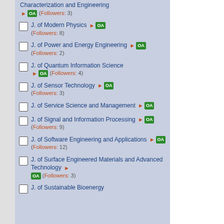Characterization and Engineering ▶ OA (Followers: 3)
J. of Modern Physics ▶ OA (Followers: 8)
J. of Power and Energy Engineering ▶ OA (Followers: 2)
J. of Quantum Information Science ▶ OA (Followers: 4)
J. of Sensor Technology ▶ OA (Followers: 3)
J. of Service Science and Management ▶ OA
J. of Signal and Information Processing ▶ OA (Followers: 9)
J. of Software Engineering and Applications ▶ OA (Followers: 12)
J. of Surface Engineered Materials and Advanced Technology ▶ OA (Followers: 3)
J. of Sustainable Bioenergy